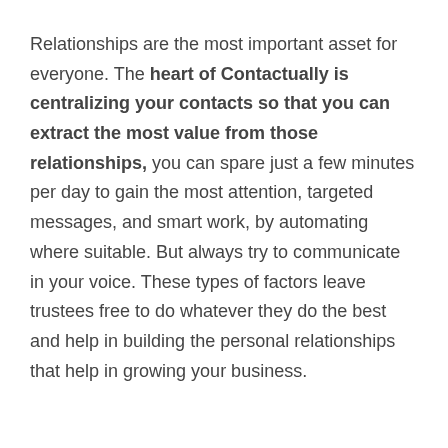Relationships are the most important asset for everyone. The heart of Contactually is centralizing your contacts so that you can extract the most value from those relationships, you can spare just a few minutes per day to gain the most attention, targeted messages, and smart work, by automating where suitable. But always try to communicate in your voice. These types of factors leave trustees free to do whatever they do the best and help in building the personal relationships that help in growing your business.